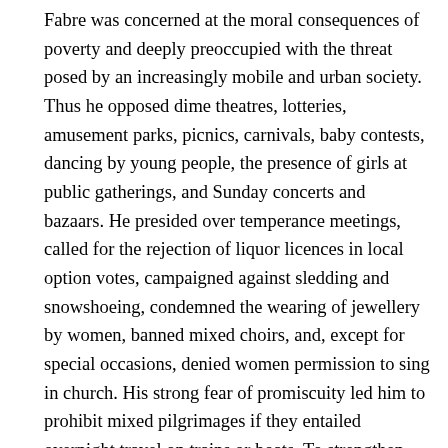Fabre was concerned at the moral consequences of poverty and deeply preoccupied with the threat posed by an increasingly mobile and urban society. Thus he opposed dime theatres, lotteries, amusement parks, picnics, carnivals, baby contests, dancing by young people, the presence of girls at public gatherings, and Sunday concerts and bazaars. He presided over temperance meetings, called for the rejection of liquor licences in local option votes, campaigned against sledding and snowshoeing, condemned the wearing of jewellery by women, banned mixed choirs, and, except for special occasions, denied women permission to sing in church. His strong fear of promiscuity led him to prohibit mixed pilgrimages if they entailed overnight travel on trains or boats. To strengthen the soul against social evils, Fabre placed great emphasis on retreats, organizing them for particular social groups such as the liberal professions and shopkeepers. As well, inspired by Pope Leo XIII's campaign to reinforce Christianity in the family, Fabre established the Association Universelle de la Sainte-Famille in 1892. Here he